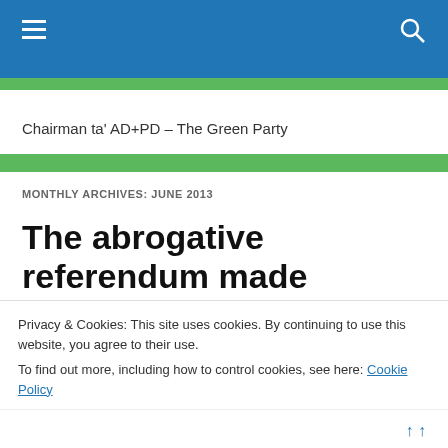Chairman ta' AD+PD – The Green Party
MONTHLY ARCHIVES: JUNE 2013
The abrogative referendum made simple : (5) Targeted
Privacy & Cookies: This site uses cookies. By continuing to use this website, you agree to their use.
To find out more, including how to control cookies, see here: Cookie Policy
Close and accept